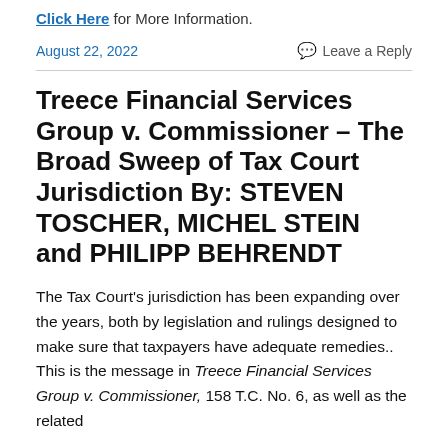Click Here for More Information.
August 22, 2022
Leave a Reply
Treece Financial Services Group v. Commissioner – The Broad Sweep of Tax Court Jurisdiction By: STEVEN TOSCHER, MICHEL STEIN and PHILIPP BEHRENDT
The Tax Court's jurisdiction has been expanding over the years, both by legislation and rulings designed to make sure that taxpayers have adequate remedies.. This is the message in Treece Financial Services Group v. Commissioner, 158 T.C. No. 6, as well as the related